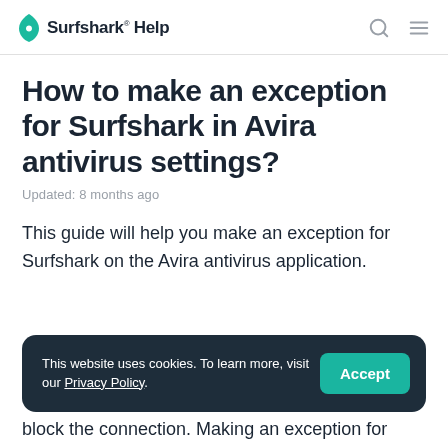Surfshark® Help
How to make an exception for Surfshark in Avira antivirus settings?
Updated: 8 months ago
This guide will help you make an exception for Surfshark on the Avira antivirus application.
This website uses cookies. To learn more, visit our Privacy Policy.
block the connection. Making an exception for